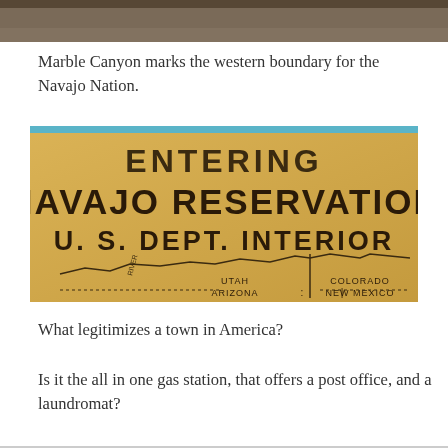[Figure (photo): Top portion of a photograph, showing a dark brownish scene cropped at top]
Marble Canyon marks the western boundary for the Navajo Nation.
[Figure (photo): A vintage sign reading ENTERING NAVAJO RESERVATION U.S. DEPT. INTERIOR with a map showing borders of Utah, Colorado, Arizona, New Mexico and the word RIVER]
What legitimizes a town in America?
Is it the all in one gas station, that offers a post office, and a laundromat?